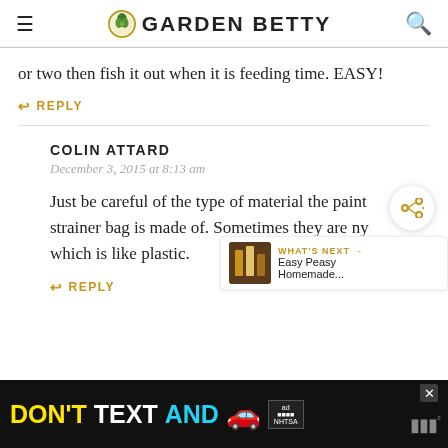GARDEN BETTY
or two then fish it out when it is feeding time. EASY!
REPLY
COLIN ATTARD
December 3, 2015 at 8:13 am
Just be careful of the type of material the paint strainer bag is made of. Sometimes they are ny which is like plastic.
REPLY
[Figure (screenshot): DON'T TEXT AND [car emoji] advertisement banner for NHTSA at bottom of page]